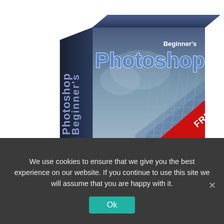[Figure (illustration): A 3D software box titled 'Beginner's Photoshop' with a dark blue color scheme. The front face shows an upward-looking perspective of a glass skyscraper against a cloudy sky, with the text 'Beginner's' in small white text and 'Photoshop' in large bold blue/white outlined letters. A red diagonal banner in the bottom right corner reads 'FREE' in white bold letters. The left side of the box shows vertical text 'Beginner's Photoshop' rotated 90 degrees.]
We use cookies to ensure that we give you the best experience on our website. If you continue to use this site we will assume that you are happy with it.